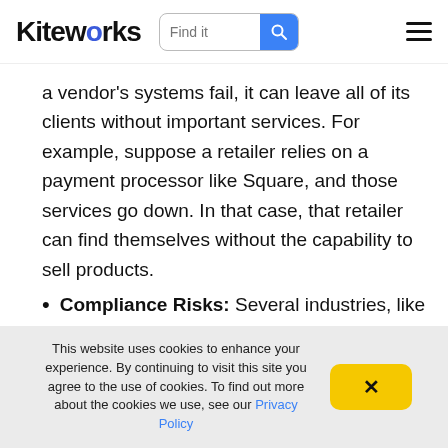Kiteworks — navigation bar with logo, search, and menu
a vendor's systems fail, it can leave all of its clients without important services. For example, suppose a retailer relies on a payment processor like Square, and those services go down. In that case, that retailer can find themselves without the capability to sell products.
Compliance Risks: Several industries, like healthcare and defense
This website uses cookies to enhance your experience. By continuing to visit this site you agree to the use of cookies. To find out more about the cookies we use, see our Privacy Policy